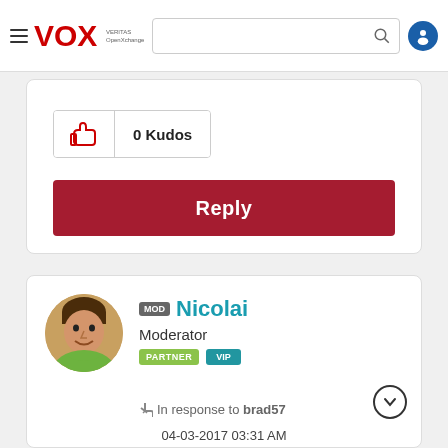VOX VERITAS OpenXchange
0 Kudos
Reply
MOD Nicolai
Moderator
PARTNER VIP
In response to brad57
04-03-2017 03:31 AM